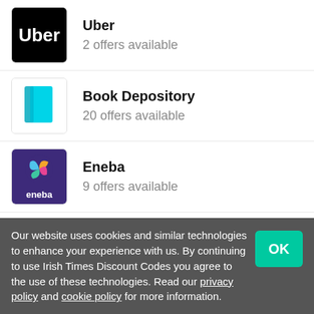Uber — 2 offers available
Book Depository — 20 offers available
Eneba — 9 offers available
OpeningMinds — 7 offers available
Our website uses cookies and similar technologies to enhance your experience with us. By continuing to use Irish Times Discount Codes you agree to the use of these technologies. Read our privacy policy and cookie policy for more information.